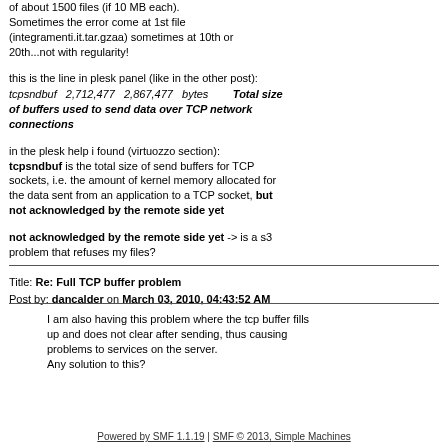of about 1500 files (if 10 MB each). Sometimes the error come at 1st file (integramenti.it.tar.gzaa) sometimes at 10th or 20th...not with regularity!
this is the line in plesk panel (like in the other post):
tcpsndbuf   2,712,477   2,867,477   bytes        Total size of buffers used to send data over TCP network connections
in the plesk help i found (virtuozzo section): tcpsndbuf is the total size of send buffers for TCP sockets, i.e. the amount of kernel memory allocated for the data sent from an application to a TCP socket, but not acknowledged by the remote side yet
not acknowledged by the remote side yet -> is a s3 problem that refuses my files?
Title: Re: Full TCP buffer problem
Post by: dancalder on March 03, 2010, 04:43:52 AM
I am also having this problem where the tcp buffer fills up and does not clear after sending, thus causing problems to services on the server.
Any solution to this?
Powered by SMF 1.1.19 | SMF © 2013, Simple Machines